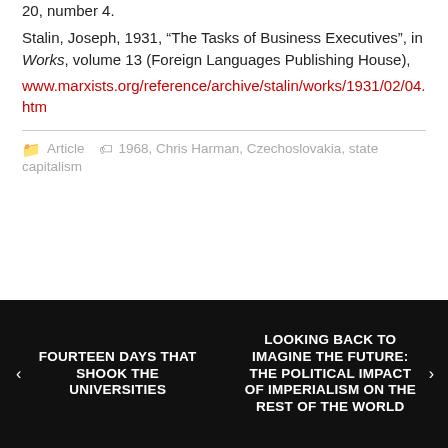20, number 4.
Stalin, Joseph, 1931, “The Tasks of Business Executives”, in Works, volume 13 (Foreign Languages Publishing House), www.marxists.org/reference/archive/stalin/works/1931/02/04.htm
Article   1968, Chris Harman, Czechoslovakia, state capitalism
‹ FOURTEEN DAYS THAT SHOOK THE UNIVERSITIES
LOOKING BACK TO IMAGINE THE FUTURE: THE POLITICAL IMPACT OF IMPERIALISM ON THE REST OF THE WORLD ›